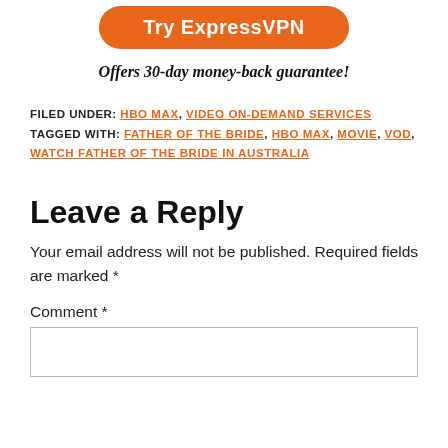[Figure (other): Orange rounded button labeled 'Try ExpressVPN']
Offers 30-day money-back guarantee!
FILED UNDER: HBO MAX, VIDEO ON-DEMAND SERVICES TAGGED WITH: FATHER OF THE BRIDE, HBO MAX, MOVIE, VOD, WATCH FATHER OF THE BRIDE IN AUSTRALIA
Leave a Reply
Your email address will not be published. Required fields are marked *
Comment *